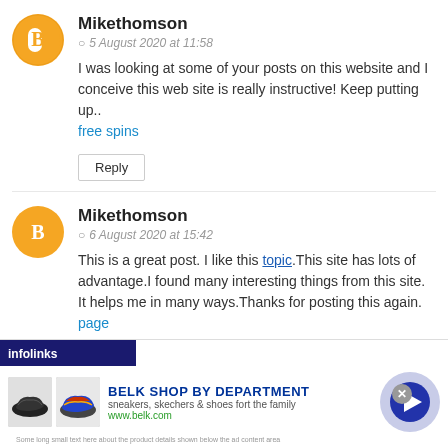Mikethomson
5 August 2020 at 11:58
I was looking at some of your posts on this website and I conceive this web site is really instructive! Keep putting up.. free spins
Reply
Mikethomson
6 August 2020 at 15:42
This is a great post. I like this topic.This site has lots of advantage.I found many interesting things from this site. It helps me in many ways.Thanks for posting this again. page
Reply
[Figure (screenshot): Infolinks advertisement banner for Belk Shop By Department showing sneakers/shoes with a navigation arrow button]